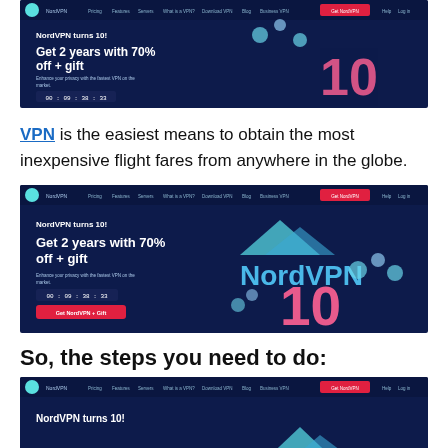[Figure (screenshot): NordVPN website screenshot showing countdown timer and 'Get NordVPN + Gift' button on dark navy background]
VPN is the easiest means to obtain the most inexpensive flight fares from anywhere in the globe.
[Figure (screenshot): NordVPN website screenshot showing 'NordVPN turns 10! Get 2 years with 70% off + gift' offer with countdown timer 00:09:38:33 and NordVPN logo with number 10]
So, the steps you need to do:
[Figure (screenshot): NordVPN website screenshot showing 'NordVPN turns 10!' heading on dark navy background]